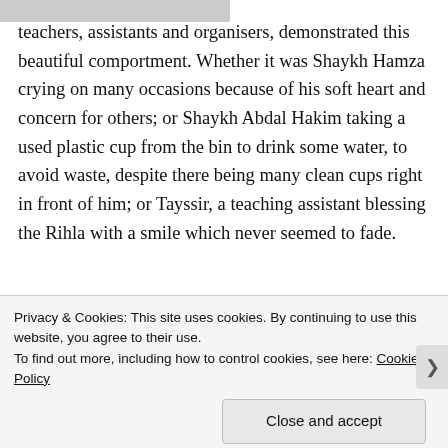[Figure (photo): Partial image at top of page, cropped]
teachers, assistants and organisers, demonstrated this beautiful comportment. Whether it was Shaykh Hamza crying on many occasions because of his soft heart and concern for others; or Shaykh Abdal Hakim taking a used plastic cup from the bin to drink some water, to avoid waste, despite there being many clean cups right in front of him; or Tayssir, a teaching assistant blessing the Rihla with a smile which never seemed to fade.
[Figure (photo): Partial image at bottom of page, cropped, with green background bar and circular avatar]
Privacy & Cookies: This site uses cookies. By continuing to use this website, you agree to their use.
To find out more, including how to control cookies, see here: Cookie Policy
Close and accept